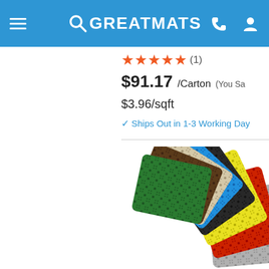GREATMATS
★★★★★ (1)
$91.17 /Carton (You Sa
$3.96/sqft
✓ Ships Out in 1-3 Working Day
[Figure (photo): Fan of colorful interlocking mat tiles in green, brown, blue, black, yellow, red, and gray colors fanned out on white background]